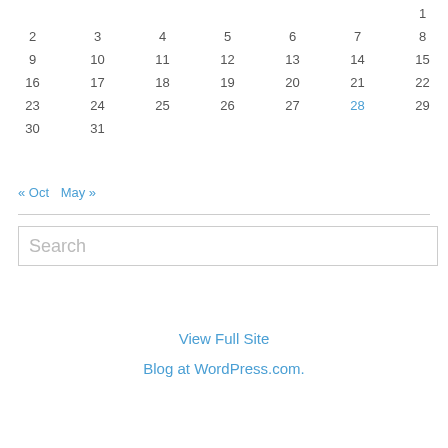|  |  |  |  |  |  | 1 |
| 2 | 3 | 4 | 5 | 6 | 7 | 8 |
| 9 | 10 | 11 | 12 | 13 | 14 | 15 |
| 16 | 17 | 18 | 19 | 20 | 21 | 22 |
| 23 | 24 | 25 | 26 | 27 | 28 | 29 |
| 30 | 31 |  |  |  |  |  |
« Oct   May »
Search
View Full Site
Blog at WordPress.com.